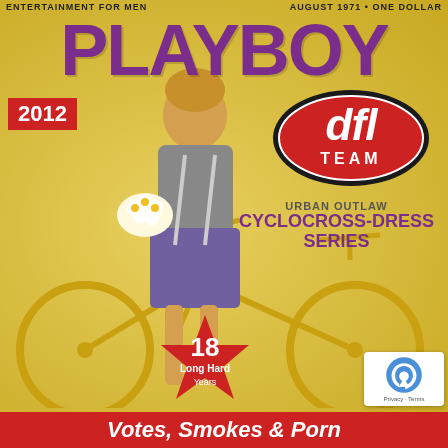ENTERTAINMENT FOR MEN   AUGUST 1971 • ONE DOLLAR
PLAYBOY
[Figure (photo): Vintage Playboy magazine cover image parody: woman with curly blonde hair holding flowers, wearing short skirt, standing in front of a yellow bicycle, on yellow background. A reCAPTCHA badge appears bottom-right.]
2012
[Figure (logo): DFL TEAM logo: red oval with black border, white italic text 'dfl' and 'TEAM' in white below]
URBAN OUTLAW
CYCLOCROSS-DRESS
SERIES
[Figure (illustration): Red star shape with text '18 Long Hard Years']
Votes, Smokes & Porn